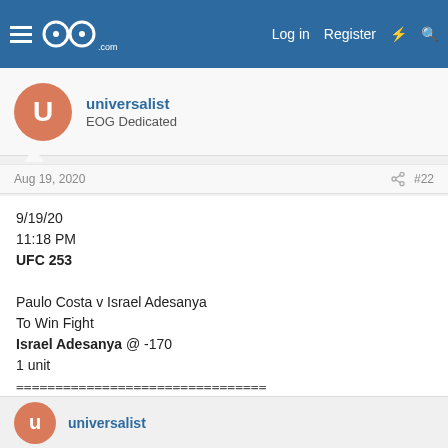EOG — Log in | Register
universalist
EOG Dedicated
Aug 19, 2020  #22
9/19/20
11:18 PM
UFC 253

Paulo Costa v Israel Adesanya
To Win Fight
Israel Adesanya @ -170
1 unit
================================

Wager this event at
https://link.intertops.eu/c/394279
universalist